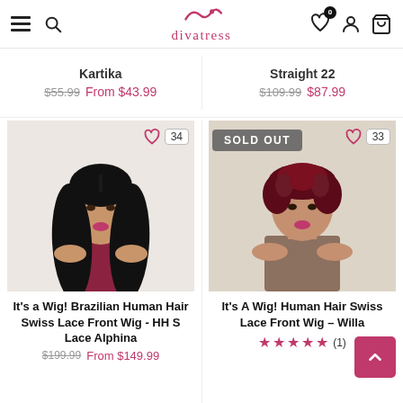divatress - navigation bar with hamburger menu, search, logo, wishlist (0), account, cart
Kartika  $55.99  From $43.99
Straight 22  $109.99  $87.99
[Figure (photo): Woman with long straight black hair wearing a red/burgundy dress]
Heart icon 34
[Figure (photo): Woman with short curly dark red/burgundy hair wearing a beige turtleneck, SOLD OUT badge visible]
SOLD OUT  Heart icon 33
It's a Wig! Brazilian Human Hair Swiss Lace Front Wig - HH S Lace Alphina
$199.99  From $149.99
It's A Wig! Human Hair Swiss Lace Front Wig – Willa
★★★★★ (1)